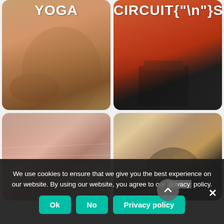[Figure (photo): Yoga: close-up of a person doing yoga, warm toned skin, text YOGA overlaid at top]
[Figure (photo): Circuits: person running through barbell equipment on red floor, text CIRCUITS overlaid at top]
[Figure (photo): Gym interior: ceiling view of a gym with lights and equipment, warm red-brown tint]
[Figure (photo): Stretch/exercise: person in dark clothing bending forward in a gym, warm tinted]
We use cookies to ensure that we give you the best experience on our website. By using our website, you agree to our privacy policy.
Ok
No
Privacy policy